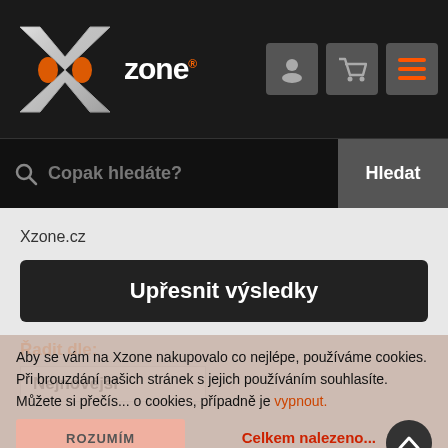[Figure (logo): Xzone.cz logo with stylized X and text 'zone' in white on dark background, with user/cart/menu icon buttons]
[Figure (screenshot): Search bar with placeholder 'Copak hledáte?' and 'Hledat' button]
Xzone.cz
Upřesnit výsledky
Řadit dle:
Nejnovější
Aby se vám na Xzone nakupovalo co nejlépe, používáme cookies. Při brouzdání našich stránek s jejich používáním souhlasíte. Můžete si přečís... o cookies, případně je vypnout.
ROZUMÍM
Celkem nalezeno...